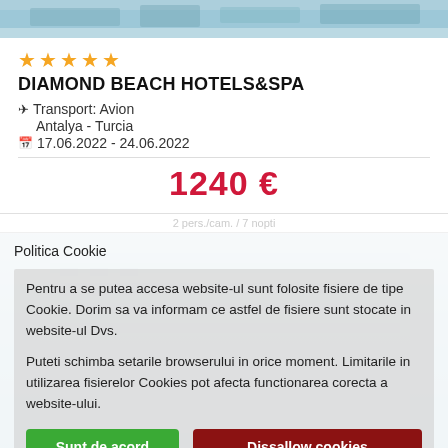[Figure (photo): Aerial/top view of a beach hotel complex, partially visible at the top of the page]
★★★★★
DIAMOND BEACH HOTELS&SPA
✈ Transport: Avion
Antalya - Turcia
17.06.2022 - 24.06.2022
1240 €
Politica Cookie
Pentru a se putea accesa website-ul sunt folosite fisiere de tipe Cookie. Dorim sa va informam ce astfel de fisiere sunt stocate in website-ul Dvs.
Puteti schimba setarile browserului in orice moment. Limitarile in utilizarea fisierelor Cookies pot afecta functionarea corecta a website-ului.
Sunt de acord
Dissallow cookies